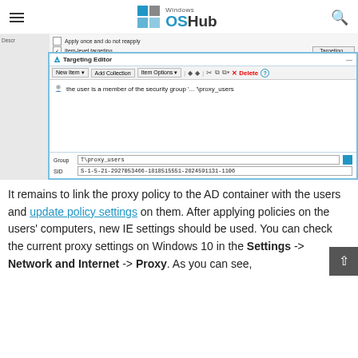Windows OSHub
[Figure (screenshot): Windows Group Policy Targeting Editor dialog showing 'the user is a member of the security group ...\proxy_users' with Group field showing T\proxy_users and SID field showing S-1-5-21-2927053466-1818515551-2824591131-1106]
It remains to link the proxy policy to the AD container with the users and update policy settings on them. After applying policies on the users' computers, new IE settings should be used. You can check the current proxy settings on Windows 10 in the Settings -> Network and Internet -> Proxy. As you can see,